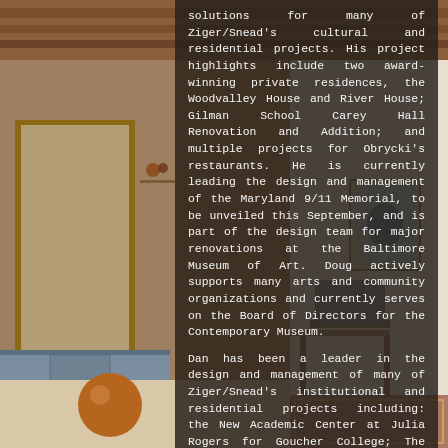[Figure (photo): Interior architectural photo of a modern home with wood ceiling beams, large sliding glass doors, blue-grey kitchen cabinets, decorative objects on shelves, a round copper/bronze sculptural ball on the floor, and a mid-century modern chair and table visible on the right side.]
solutions for many of Ziger/Snead's cultural and residential projects. His project highlights include two award-winning private residences, the Woodvalley House and River House; Gilman School Carey Hall Renovation and Addition; and multiple projects for Obrycki's restaurants. He is currently leading the design and management of the Maryland 9/11 Memorial, to be unveiled this September, and is part of the design team for major renovations at the Baltimore Museum of Art. Doug actively supports many arts and community organizations and currently serves on the Board of Directors for the Contemporary Museum.
Dan has been a leader in the design and management of many of Ziger/Snead's institutional and residential projects including: the New Academic Center at Julia Rogers for Goucher College; The Center for Parks